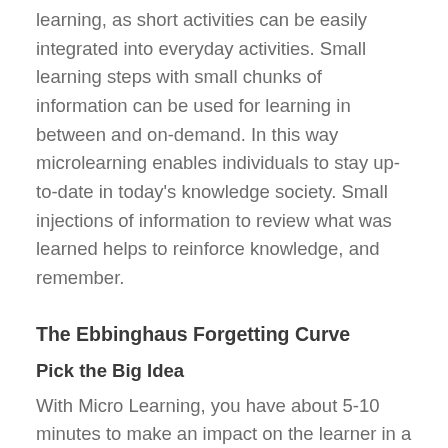learning, as short activities can be easily integrated into everyday activities. Small learning steps with small chunks of information can be used for learning in between and on-demand. In this way microlearning enables individuals to stay up-to-date in today's knowledge society. Small injections of information to review what was learned helps to reinforce knowledge, and remember.
The Ebbinghaus Forgetting Curve
Pick the Big Idea
With Micro Learning, you have about 5-10 minutes to make an impact on the learner in a way that is transferrable and can lead to